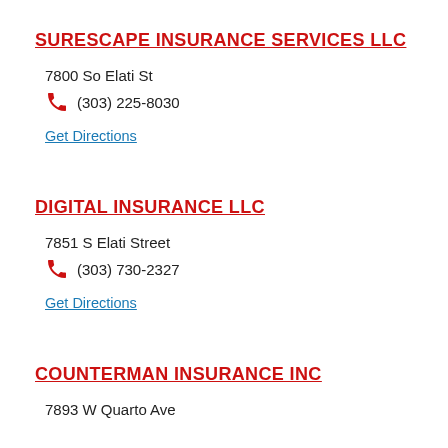SURESCAPE INSURANCE SERVICES LLC
7800 So Elati St
(303) 225-8030
Get Directions
DIGITAL INSURANCE LLC
7851 S Elati Street
(303) 730-2327
Get Directions
COUNTERMAN INSURANCE INC
7893 W Quarto Ave